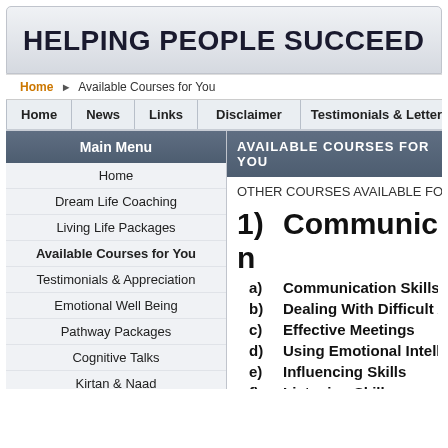HELPING PEOPLE SUCCEED
Home ▶ Available Courses for You
Home | News | Links | Disclaimer | Testimonials & Letters of Ap
Main Menu
Home
Dream Life Coaching
Living Life Packages
Available Courses for You
Testimonials & Appreciation
Emotional Well Being
Pathway Packages
Cognitive Talks
Kirtan & Naad
Mental Training
What are Beliefs?
Hypnotherapy
Kinesiology
Ordering
Soak Up Info! MP3
AVAILABLE COURSES FOR YOU
OTHER COURSES AVAILABLE FOR YOUR D
1)   Communication
a)   Communication Skills
b)   Dealing With Difficult A
c)   Effective Meetings
d)   Using Emotional Intelli
e)   Influencing Skills
f)   Listening Skills